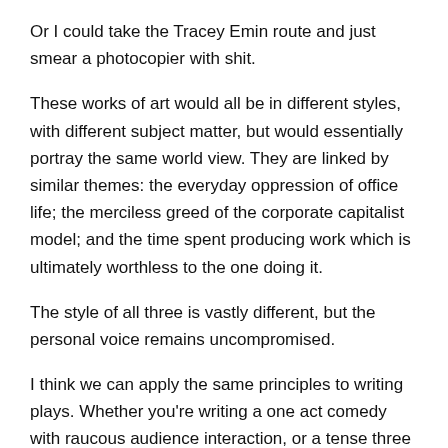Or I could take the Tracey Emin route and just smear a photocopier with shit.
These works of art would all be in different styles, with different subject matter, but would essentially portray the same world view. They are linked by similar themes: the everyday oppression of office life; the merciless greed of the corporate capitalist model; and the time spent producing work which is ultimately worthless to the one doing it.
The style of all three is vastly different, but the personal voice remains uncompromised.
I think we can apply the same principles to writing plays. Whether you're writing a one act comedy with raucous audience interaction, or a tense three act traditional drama, you can still tell a story using your personal voice.